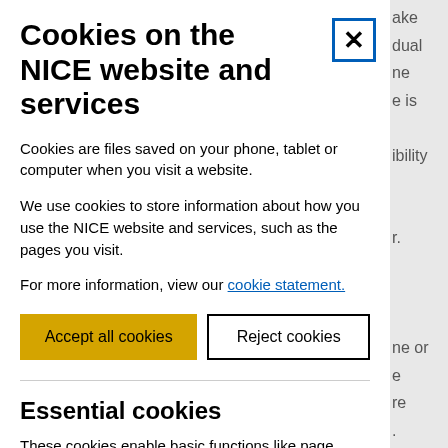Cookies on the NICE website and services
Cookies are files saved on your phone, tablet or computer when you visit a website.
We use cookies to store information about how you use the NICE website and services, such as the pages you visit.
For more information, view our cookie statement.
Accept all cookies
Reject cookies
Essential cookies
These cookies enable basic functions like page...